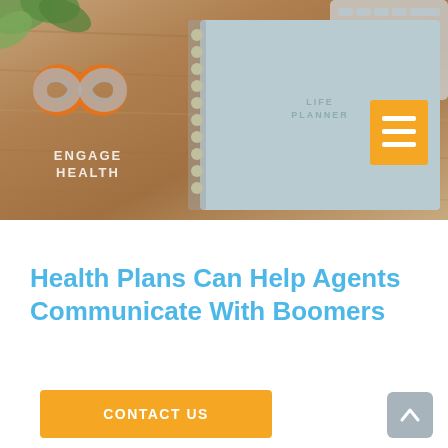[Figure (photo): Hero banner image showing a wooden desk with a blue/grey spiral-bound life planner notebook, a keyboard in the top right, and green plant leaves in the top left. The Engage Health logo with orange/grey infinity symbol is overlaid on the left side.]
Health Plans Can Help Agents Communicate With Boomers
[Figure (other): Orange 'CONTACT US' button]
[Figure (other): Grey scroll-to-top button with upward chevron arrow]